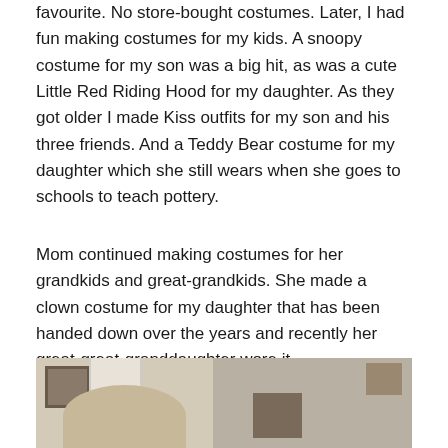favourite. No store-bought costumes. Later, I had fun making costumes for my kids. A snoopy costume for my son was a big hit, as was a cute Little Red Riding Hood for my daughter. As they got older I made Kiss outfits for my son and his three friends. And a Teddy Bear costume for my daughter which she still wears when she goes to schools to teach pottery.
Mom continued making costumes for her grandkids and great-grandkids. She made a clown costume for my daughter that has been handed down over the years and recently her great-great-granddaughter wore it.
[Figure (photo): A photograph showing a young child with blonde hair in what appears to be a costume, standing in a room with a white door visible in the background. On the left side is a framed picture on the wall. On the right side there are shelves with items.]